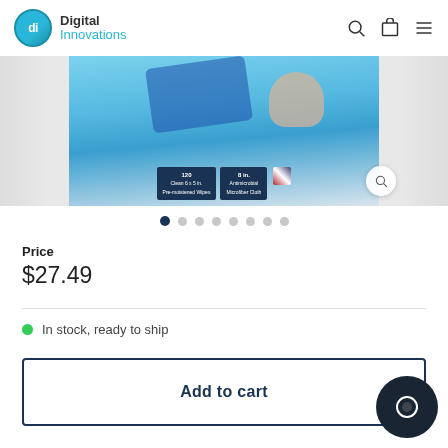Digital Innovations
[Figure (photo): Product image showing cleaning wipes package with blue cloth, 120 count, 8 in., on light blue background with magnify button overlay]
Price
$27.49
In stock, ready to ship
Add to cart